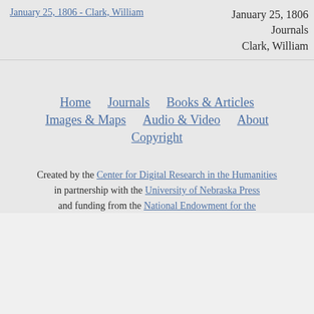January 25, 1806 - Clark, William
January 25, 1806
Journals
Clark, William
Home   Journals   Books & Articles   Images & Maps   Audio & Video   About   Copyright
Created by the Center for Digital Research in the Humanities in partnership with the University of Nebraska Press and funding from the National Endowment for the